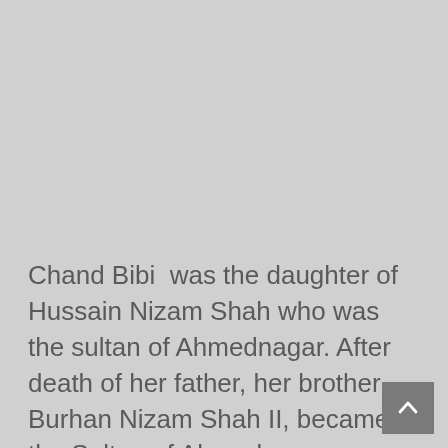Chand Bibi  was the daughter of Hussain Nizam Shah who was the sultan of Ahmednagar. After death of her father, her brother Burhan Nizam Shah II, became the Sultan of Ahmednagar.